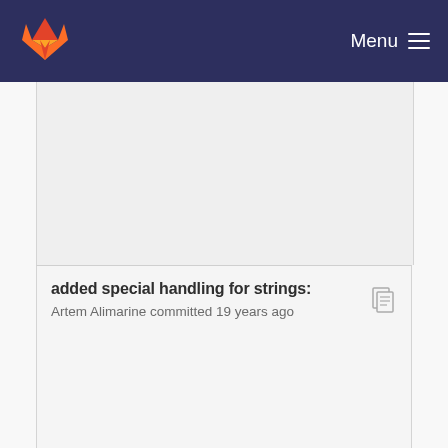[Figure (logo): GitLab fox logo in orange and red on dark navy navigation bar]
Menu
added special handling for strings:
Artem Alimarine committed 19 years ago